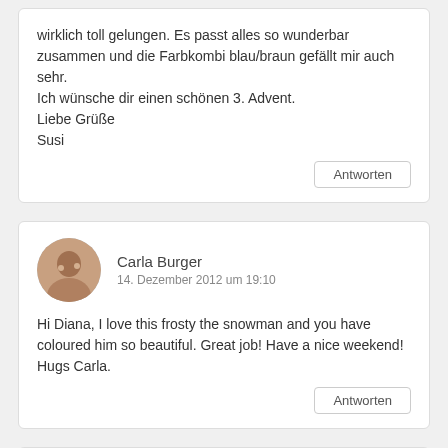wirklich toll gelungen. Es passt alles so wunderbar zusammen und die Farbkombi blau/braun gefällt mir auch sehr.
Ich wünsche dir einen schönen 3. Advent.
Liebe Grüße
Susi
Antworten
Carla Burger
14. Dezember 2012 um 19:10
Hi Diana, I love this frosty the snowman and you have coloured him so beautiful. Great job! Have a nice weekend! Hugs Carla.
Antworten
Stempelhexe
14. Dezember 2012 um 23:31